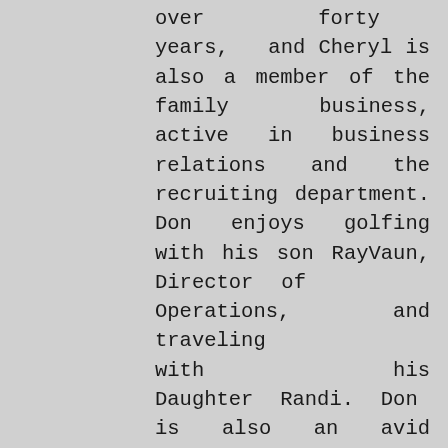over forty years, and Cheryl is also a member of the family business, active in business relations and the recruiting department. Don enjoys golfing with his son RayVaun, Director of Operations, and traveling with his Daughter Randi. Don is also an avid motorcycle rider who loves to ride his Harley Davidson Motorcycles for weekly trips. Don actively participates in annual charities like: Breast Cancer Foundation of the